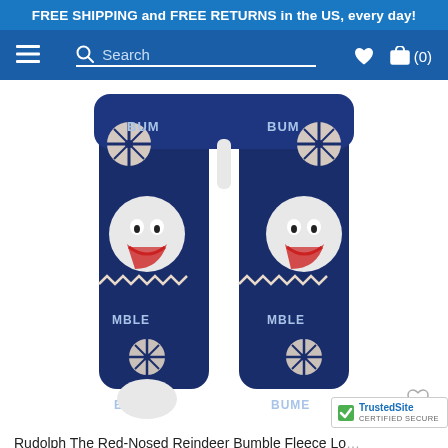FREE SHIPPING and FREE RETURNS in the US, every day!
Search navigation bar with hamburger menu, search field, wishlist and cart (0)
[Figure (photo): Pair of navy blue fleece lounge pants featuring Bumble the Abominable Snowman from Rudolph the Red-Nosed Reindeer, with snowflake and fair-isle patterns. 'BUMBLE' text visible on the fabric.]
Rudolph The Red-Nosed Reindeer Bumble Fleece Lo...